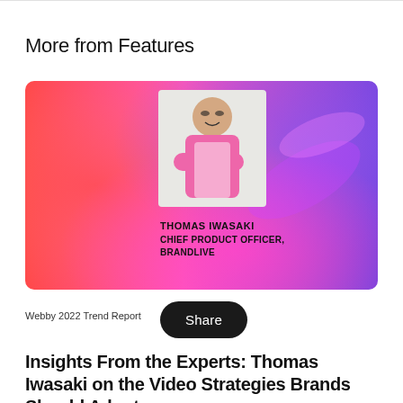More from Features
[Figure (photo): Promotional card image with a colorful gradient background (red, pink, purple). Features a photo of Thomas Iwasaki, a man smiling with arms crossed wearing a pink shirt. Text overlay reads: THOMAS IWASAKI / CHIEF PRODUCT OFFICER, BRANDLIVE]
Webby 2022 Trend Report
Insights From the Experts: Thomas Iwasaki on the Video Strategies Brands Should Adopt